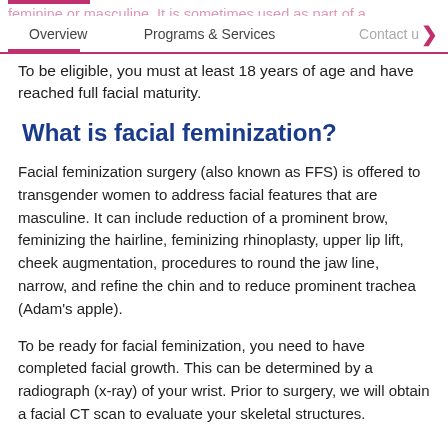Overview | Programs & Services | Contact
To be eligible, you must at least 18 years of age and have reached full facial maturity.
What is facial feminization?
Facial feminization surgery (also known as FFS) is offered to transgender women to address facial features that are masculine. It can include reduction of a prominent brow, feminizing the hairline, feminizing rhinoplasty, upper lip lift, cheek augmentation, procedures to round the jaw line, narrow, and refine the chin and to reduce prominent trachea (Adam's apple).
To be ready for facial feminization, you need to have completed facial growth. This can be determined by a radiograph (x-ray) of your wrist. Prior to surgery, we will obtain a facial CT scan to evaluate your skeletal structures.